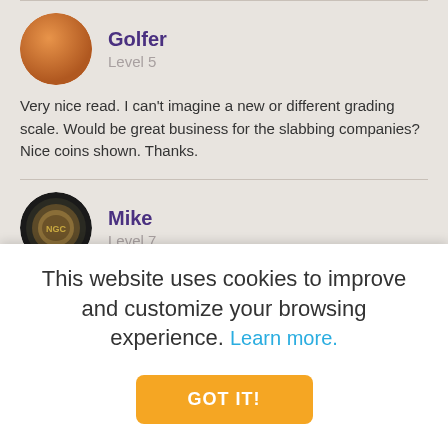[Figure (illustration): Circular avatar with orange/brown gradient representing user Golfer]
Golfer
Level 5
Very nice read. I can't imagine a new or different grading scale. Would be great business for the slabbing companies? Nice coins shown. Thanks.
[Figure (illustration): Circular avatar showing a coin in NGC slab holder representing user Mike]
Mike
Level 7
Counterfeiting will go on. This year they changed the eagle. There is a cut in the
This website uses cookies to improve and customize your browsing experience. Learn more.
GOT IT!